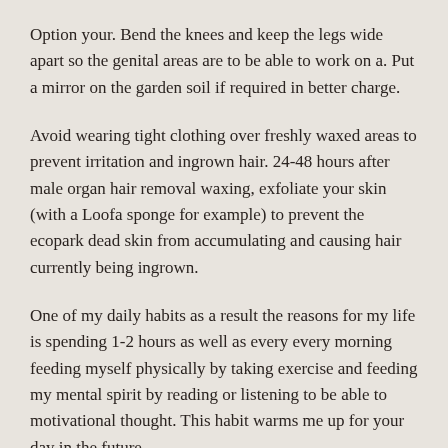Option your. Bend the knees and keep the legs wide apart so the genital areas are to be able to work on a. Put a mirror on the garden soil if required in better charge.
Avoid wearing tight clothing over freshly waxed areas to prevent irritation and ingrown hair. 24-48 hours after male organ hair removal waxing, exfoliate your skin (with a Loofa sponge for example) to prevent the ecopark dead skin from accumulating and causing hair currently being ingrown.
One of my daily habits as a result the reasons for my life is spending 1-2 hours as well as every every morning feeding myself physically by taking exercise and feeding my mental spirit by reading or listening to be able to motivational thought. This habit warms me up for your day in the future.